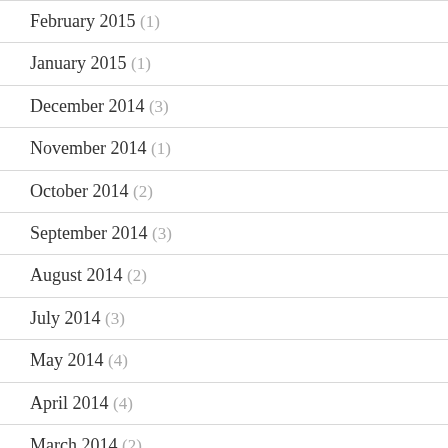February 2015 (1)
January 2015 (1)
December 2014 (3)
November 2014 (1)
October 2014 (2)
September 2014 (3)
August 2014 (2)
July 2014 (3)
May 2014 (4)
April 2014 (4)
March 2014 (2)
February 2014 (3)
January 2014 (3)